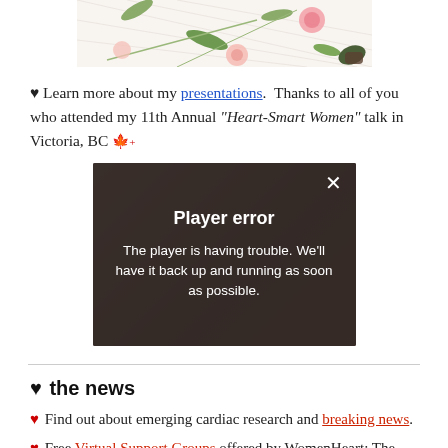[Figure (photo): Floral banner image with flowers and leaves on light background]
♥ Learn more about my presentations.  Thanks to all of you who attended my 11th Annual "Heart-Smart Women" talk in Victoria, BC 🇨🇦
[Figure (screenshot): Video player showing Player error message: 'The player is having trouble. We'll have it back up and running as soon as possible.']
♥ the news
♥ Find out about emerging cardiac research and breaking news.
♥ Free Virtual Support Groups offered by WomenHeart: The National